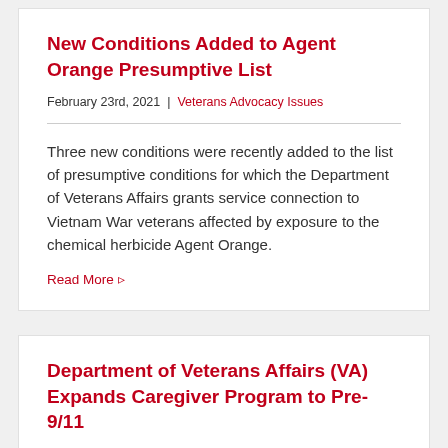New Conditions Added to Agent Orange Presumptive List
February 23rd, 2021  |  Veterans Advocacy Issues
Three new conditions were recently added to the list of presumptive conditions for which the Department of Veterans Affairs grants service connection to Vietnam War veterans affected by exposure to the chemical herbicide Agent Orange.
Read More ▹
Department of Veterans Affairs (VA) Expands Caregiver Program to Pre-9/11